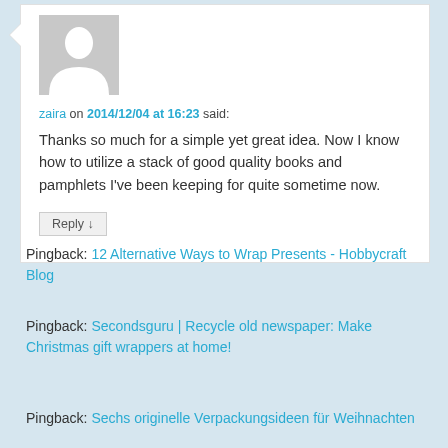[Figure (illustration): Generic user avatar: grey square background with white silhouette of a person (head and shoulders)]
zaira on 2014/12/04 at 16:23 said:
Thanks so much for a simple yet great idea. Now I know how to utilize a stack of good quality books and pamphlets I've been keeping for quite sometime now.
Reply ↓
Pingback: 12 Alternative Ways to Wrap Presents - Hobbycraft Blog
Pingback: Secondsguru | Recycle old newspaper: Make Christmas gift wrappers at home!
Pingback: Sechs originelle Verpackungsideen für Weihnachten